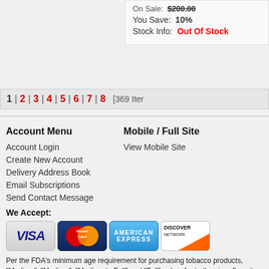On Sale: $200.00
You Save: 10%
Stock Info: Out Of Stock
1 | 2 | 3 | 4 | 5 | 6 | 7 | 8  [369 Items]
Account Menu
Mobile / Full Site
Account Login
Create New Account
Delivery Address Book
Email Subscriptions
Send Contact Message
View Mobile Site
We Accept:
[Figure (logo): Payment card logos: Visa, MasterCard, American Express, Discover Network]
Per the FDA's minimum age requirement for purchasing tobacco products, "Medium", "Medium", "Medium to Full" and "Full" only refer to the cigar flavor profile.
Arnolds Tobacco does not sell cigars to retailers of tobacco products nor do, intended for personal consumption by its customers and resale thereof is st